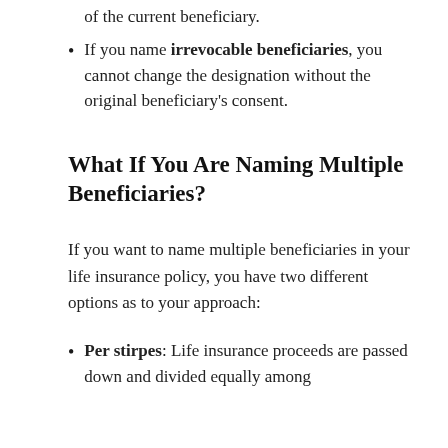of the current beneficiary.
If you name irrevocable beneficiaries, you cannot change the designation without the original beneficiary's consent.
What If You Are Naming Multiple Beneficiaries?
If you want to name multiple beneficiaries in your life insurance policy, you have two different options as to your approach:
Per stirpes: Life insurance proceeds are passed down and divided equally among